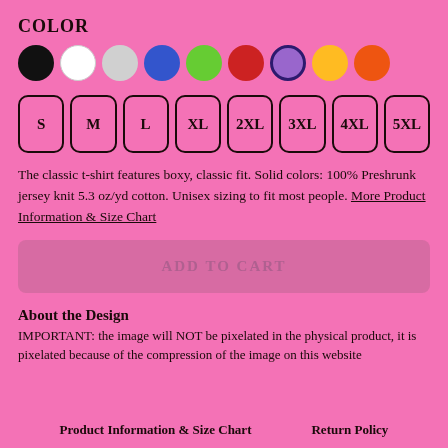COLOR
[Figure (other): Color swatches: black, white, light gray, blue, green, red, purple (selected/highlighted), yellow, orange]
[Figure (other): Size selector buttons: S, M, L, XL, 2XL, 3XL, 4XL, 5XL]
The classic t-shirt features boxy, classic fit. Solid colors: 100% Preshrunk jersey knit 5.3 oz/yd cotton. Unisex sizing to fit most people. More Product Information & Size Chart
ADD TO CART
About the Design
IMPORTANT: the image will NOT be pixelated in the physical product, it is pixelated because of the compression of the image on this website
Product Information & Size Chart    Return Policy